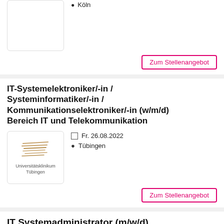Köln
Zum Stellenangebot
IT-Systemelektroniker/-in / Systeminformatiker/-in / Kommunikationselektroniker/-in (w/m/d) Bereich IT und Telekommunikation
Fr. 26.08.2022
Tübingen
[Figure (logo): Universitätsklinikum Tübingen logo with stylized lines and text]
Zum Stellenangebot
IT Systemadministrator (m/w/d)
Fr. 26.08.2022
Erlangen